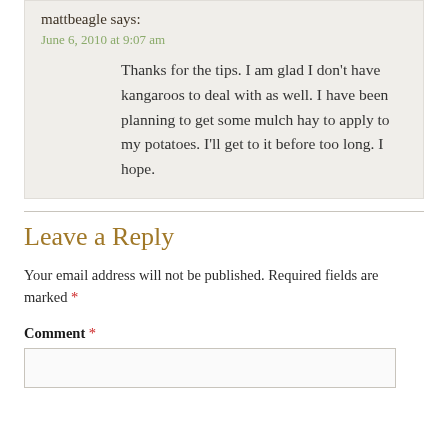mattbeagle says:
June 6, 2010 at 9:07 am
Thanks for the tips. I am glad I don’t have kangaroos to deal with as well. I have been planning to get some mulch hay to apply to my potatoes. I’ll get to it before too long. I hope.
Leave a Reply
Your email address will not be published. Required fields are marked *
Comment *